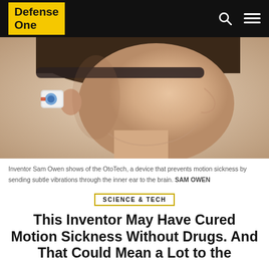Defense One
[Figure (photo): Side profile of a man with a small electronic device (OtoTech) attached behind his ear, against a light beige background.]
Inventor Sam Owen shows of the OtoTech, a device that prevents motion sickness by sending subtle vibrations through the inner ear to the brain. SAM OWEN
SCIENCE & TECH
This Inventor May Have Cured Motion Sickness Without Drugs. And That Could Mean a Lot to the